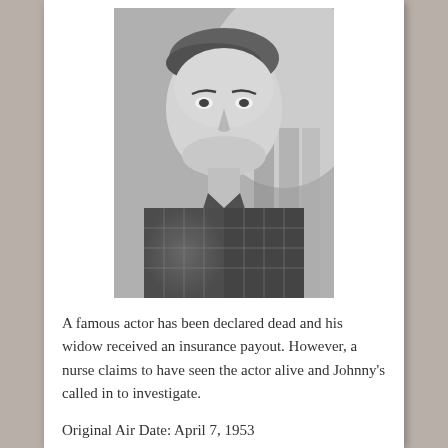[Figure (photo): Black and white portrait photograph of a young male actor, wearing a checkered/houndstooth pattern shirt, with neatly combed hair, smiling slightly at the camera.]
A famous actor has been declared dead and his widow received an insurance payout. However, a nurse claims to have seen the actor alive and Johnny's called in to investigate.
Original Air Date: April 7, 1953
When making your travel plans, remember